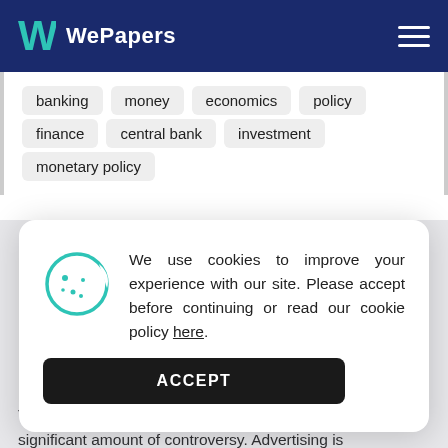WePapers
banking  money  economics  policy  finance  central bank  investment  monetary policy
We use cookies to improve your experience with our site. Please accept before continuing or read our cookie policy here.
ACCEPT
Introduction
The Paris Hilton Carls Jr Burger Ad has created a significant amount of controversy. Advertising is